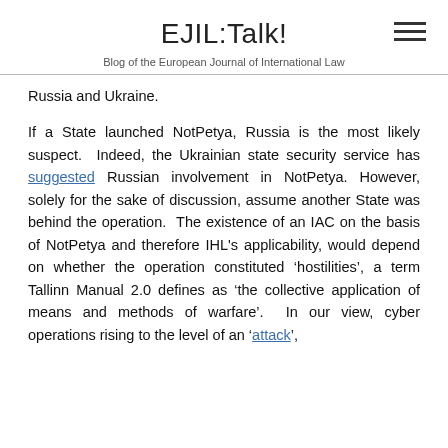EJIL:Talk! — Blog of the European Journal of International Law
Russia and Ukraine.
If a State launched NotPetya, Russia is the most likely suspect. Indeed, the Ukrainian state security service has suggested Russian involvement in NotPetya. However, solely for the sake of discussion, assume another State was behind the operation. The existence of an IAC on the basis of NotPetya and therefore IHL's applicability, would depend on whether the operation constituted 'hostilities', a term Tallinn Manual 2.0 defines as 'the collective application of means and methods of warfare'. In our view, cyber operations rising to the level of an 'attack',